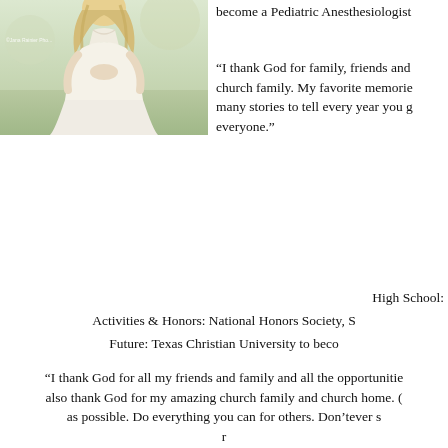[Figure (photo): Young woman in white dress photographed from behind in an outdoor green field setting. Watermark reads '©Jana Rainier Pho...']
become a Pediatric Anesthesiologist
“I thank God for family, friends and church family. My favorite memories many stories to tell every year you g everyone.”
High School:
Activities & Honors: National Honors Society, S
Future: Texas Christian University to beco
“I thank God for all my friends and family and all the opportunitie also thank God for my amazing church family and church home. as possible. Do everything you can for others. Don’tever s r